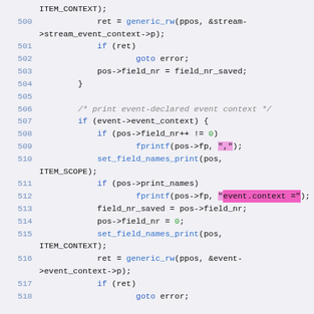[Figure (screenshot): Source code listing in a code editor showing C code lines 500-517, with syntax highlighting. Line numbers in blue, keywords in blue, function names in blue, string literals highlighted in pink/magenta, numeric literals in green. Background is light gray-blue. One line with 'event.context ="' has a pink/magenta background highlight.]